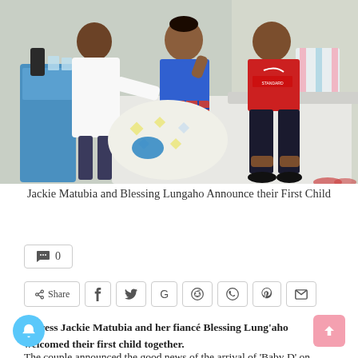[Figure (photo): Hospital room photo showing a doctor in white coat, a woman in blue holding a newborn wrapped in a blanket, and a man in a red Liverpool football jersey, sitting on a hospital bed.]
Jackie Matubia and Blessing Lungaho Announce their First Child
💬 0
Share (with social media icons: Facebook, Twitter, Google, Reddit, WhatsApp, Pinterest, Email)
Actress Jackie Matubia and her fiancé Blessing Lung'aho welcomed their first child together.
The couple announced the good news of the arrival of 'Baby D' on